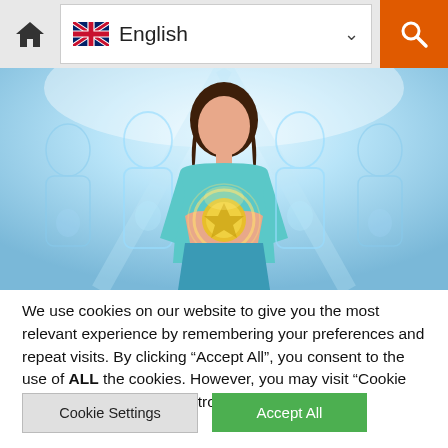[Figure (screenshot): Website navigation bar with home icon, English language selector with UK flag and dropdown arrow, and orange search button]
[Figure (illustration): Digital illustration of a woman with brown hair in the center holding a glowing golden geometric sphere/coin to her chest, surrounded by four semi-transparent blue outline figures of women also holding glowing objects, set against a bright blue stadium-like background]
We use cookies on our website to give you the most relevant experience by remembering your preferences and repeat visits. By clicking "Accept All", you consent to the use of ALL the cookies. However, you may visit "Cookie Settings" to provide a controlled consent.
Cookie Settings
Accept All